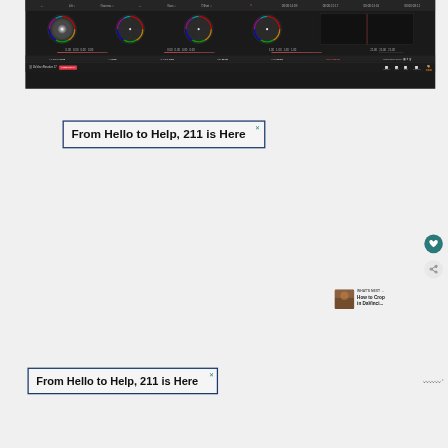[Figure (screenshot): DaVinci Resolve 17 color grading interface showing color wheels (Lift, Gamma, Gain, Offset), numeric values, sliders, and bottom navigation tabs including Color tab highlighted]
From Hello to Help, 211 is Here
[Figure (screenshot): Heart/favorite button (teal circle with heart icon) and share button (teal circle with share icon) on right sidebar]
WHAT'S NEXT → How to Crop in DaVinci...
From Hello to Help, 211 is Here